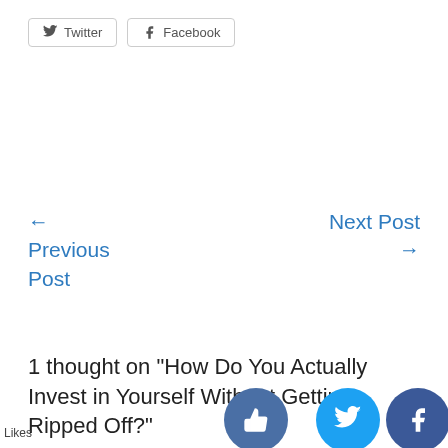[Figure (other): Twitter and Facebook share buttons with icons]
← Previous Post
Next Post →
1 thought on “How Do You Actually Invest in Yourself Without Getting Ripped Off?”
Likes
[Figure (other): Social sharing icon buttons: thumbs up, Twitter bird, Facebook f, crown]